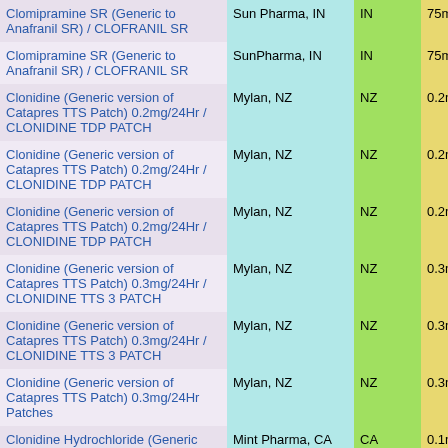| Drug Name | Manufacturer | Country | Strength |
| --- | --- | --- | --- |
| Clomipramine SR (Generic to Anafranil SR) / CLOFRANIL SR | Sun Pharma, IN | IN | 75mg Exte |
| Clomipramine SR (Generic to Anafranil SR) / CLOFRANIL SR | SunPharma, IN | IN | 75mg Exte |
| Clonidine (Generic version of Catapres TTS Patch) 0.2mg/24Hr / CLONIDINE TDP PATCH | Mylan, NZ | NZ | 0.2mg/24H |
| Clonidine (Generic version of Catapres TTS Patch) 0.2mg/24Hr / CLONIDINE TDP PATCH | Mylan, NZ | NZ | 0.2mg/24H |
| Clonidine (Generic version of Catapres TTS Patch) 0.2mg/24Hr / CLONIDINE TDP PATCH | Mylan, NZ | NZ | 0.2mg/24H |
| Clonidine (Generic version of Catapres TTS Patch) 0.3mg/24Hr / CLONIDINE TTS 3 PATCH | Mylan, NZ | NZ | 0.3mg/24H |
| Clonidine (Generic version of Catapres TTS Patch) 0.3mg/24Hr / CLONIDINE TTS 3 PATCH | Mylan, NZ | NZ | 0.3mg/24H |
| Clonidine (Generic version of Catapres TTS Patch) 0.3mg/24Hr Patches | Mylan, NZ | NZ | 0.3mg/24H |
| Clonidine Hydrochloride (Generic version of Catapres) 0.1mg Tablets | Mint Pharma, CA | CA | 0.1mg |